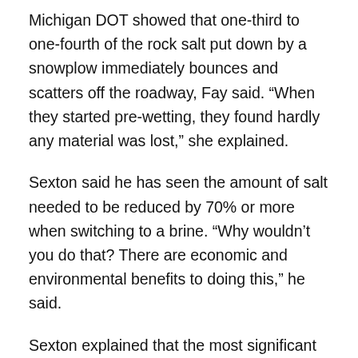Michigan DOT showed that one-third to one-fourth of the rock salt put down by a snowplow immediately bounces and scatters off the roadway, Fay said. “When they started pre-wetting, they found hardly any material was lost,” she explained.
Sexton said he has seen the amount of salt needed to be reduced by 70% or more when switching to a brine. “Why wouldn’t you do that? There are economic and environmental benefits to doing this,” he said.
Sexton explained that the most significant barrier to brine use is the infrastructure investment that is required.
“We work with the New York Department of Transportation. One of their challenges is they have a